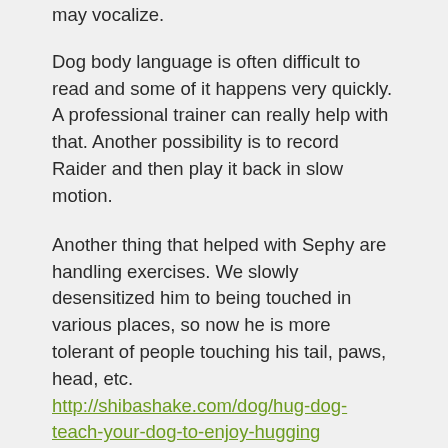may vocalize.
Dog body language is often difficult to read and some of it happens very quickly. A professional trainer can really help with that. Another possibility is to record Raider and then play it back in slow motion.
Another thing that helped with Sephy are handling exercises. We slowly desensitized him to being touched in various places, so now he is more tolerant of people touching his tail, paws, head, etc. http://shibashake.com/dog/hug-dog-teach-your-dog-to-enjoy-hugging
This article on dog greetings may also be of interest – http://shibashake.com/dog/dogs-children-prevent-dog-attacks